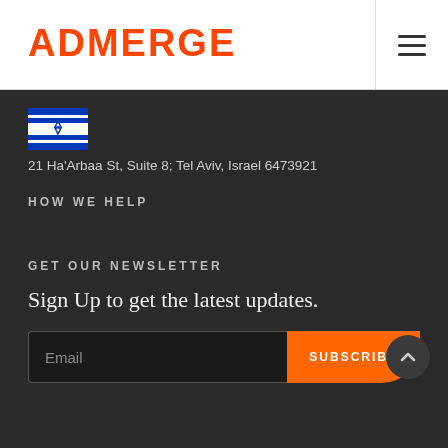ADMERGE
[Figure (illustration): Israel flag icon]
21 Ha'Arbaa St, Suite 8; Tel Aviv, Israel 6473921
HOW WE HELP
GET OUR NEWSLETTER
Sign Up to get the latest updates.
Email
SUBSCRIBE